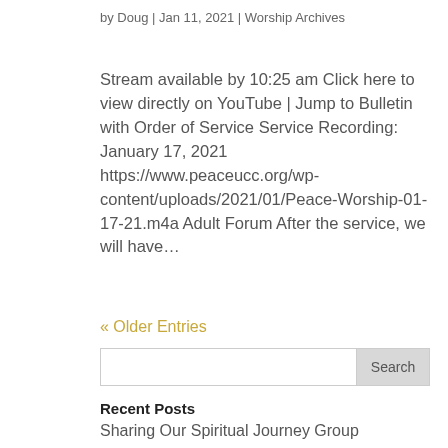by Doug | Jan 11, 2021 | Worship Archives
Stream available by 10:25 am Click here to view directly on YouTube | Jump to Bulletin with Order of Service Service Recording: January 17, 2021 https://www.peaceucc.org/wp-content/uploads/2021/01/Peace-Worship-01-17-21.m4a Adult Forum After the service, we will have…
« Older Entries
Search
Recent Posts
Sharing Our Spiritual Journey Group